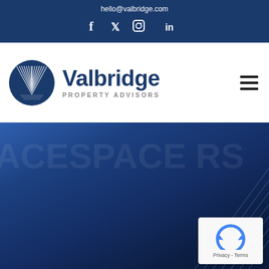hello@valbridge.com
[Figure (logo): Social media icons: Facebook, Twitter, Instagram, LinkedIn]
[Figure (logo): Valbridge Property Advisors logo with V circle emblem]
[Figure (illustration): Hamburger menu icon (three horizontal bars)]
[Figure (photo): Dark blue hero background with faint watermark text reading ACESPACE and decorative diagonal lines in bottom right, with reCAPTCHA badge overlay showing Privacy - Terms]